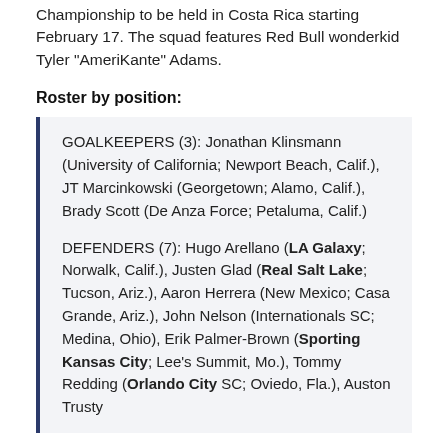Championship to be held in Costa Rica starting February 17. The squad features Red Bull wonderkid Tyler "AmeriKante" Adams.
Roster by position:
GOALKEEPERS (3): Jonathan Klinsmann (University of California; Newport Beach, Calif.), JT Marcinkowski (Georgetown; Alamo, Calif.), Brady Scott (De Anza Force; Petaluma, Calif.)
DEFENDERS (7): Hugo Arellano (LA Galaxy; Norwalk, Calif.), Justen Glad (Real Salt Lake; Tucson, Ariz.), Aaron Herrera (New Mexico; Casa Grande, Ariz.), John Nelson (Internationals SC; Medina, Ohio), Erik Palmer-Brown (Sporting Kansas City; Lee's Summit, Mo.), Tommy Redding (Orlando City SC; Oviedo, Fla.), Auston Trusty